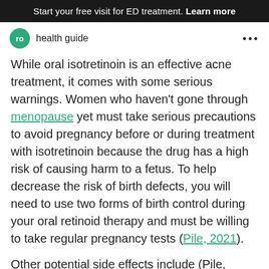Start your free visit for ED treatment. Learn more
ro health guide
While oral isotretinoin is an effective acne treatment, it comes with some serious warnings. Women who haven't gone through menopause yet must take serious precautions to avoid pregnancy before or during treatment with isotretinoin because the drug has a high risk of causing harm to a fetus. To help decrease the risk of birth defects, you will need to use two forms of birth control during your oral retinoid therapy and must be willing to take regular pregnancy tests (Pile, 2021).
Other potential side effects include (Pile, 2021):
Dry lips